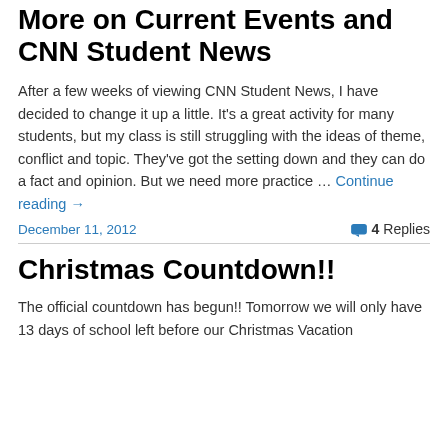More on Current Events and CNN Student News
After a few weeks of viewing CNN Student News, I have decided to change it up a little. It's a great activity for many students, but my class is still struggling with the ideas of theme, conflict and topic. They've got the setting down and they can do a fact and opinion. But we need more practice … Continue reading →
December 11, 2012    4 Replies
Christmas Countdown!!
The official countdown has begun!! Tomorrow we will only have 13 days of school left before our Christmas Vacation